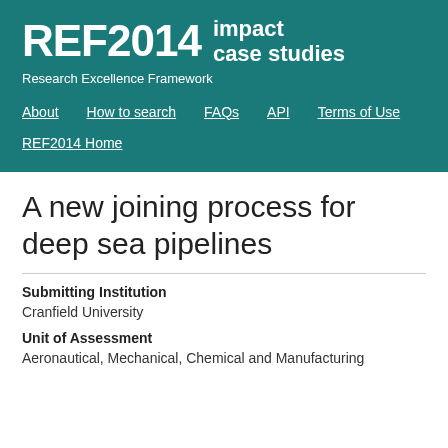REF2014 impact case studies — Research Excellence Framework
About | How to search | FAQs | API | Terms of Use
REF2014 Home
A new joining process for deep sea pipelines
Submitting Institution
Cranfield University
Unit of Assessment
Aeronautical, Mechanical, Chemical and Manufacturing